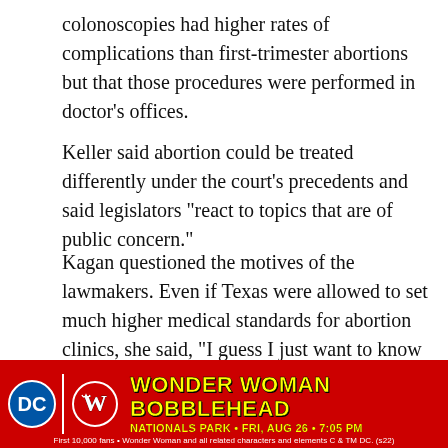colonoscopies had higher rates of complications than first-trimester abortions but that those procedures were performed in doctor’s offices.
Keller said abortion could be treated differently under the court’s precedents and said legislators “react to topics that are of public concern.”
Kagan questioned the motives of the lawmakers. Even if Texas were allowed to set much higher medical standards for abortion clinics, she said, “I guess I just want to know why would Texas do that?”
Her point seemed to be that it was not to protect health but to close clinics.
[Figure (infographic): Advertisement banner for Wonder Woman Bobblehead at Nationals Park, Friday, Aug 26, 7:05 PM. Red background with DC logo, Nationals W logo, yellow text. Fine print: First 10,000 fans. Wonder Woman and all related characters and elements C & TM DC. (s22)]